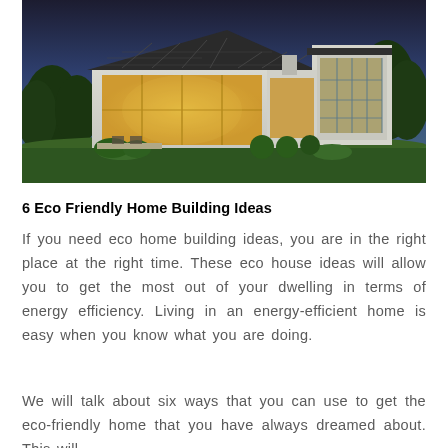[Figure (photo): An eco-friendly white house with solar panels on the roof, large glass windows glowing with warm interior light, and trimmed shrubs in the garden, photographed at dusk.]
6 Eco Friendly Home Building Ideas
If you need eco home building ideas, you are in the right place at the right time. These eco house ideas will allow you to get the most out of your dwelling in terms of energy efficiency. Living in an energy-efficient home is easy when you know what you are doing.
We will talk about six ways that you can use to get the eco-friendly home that you have always dreamed about. This will